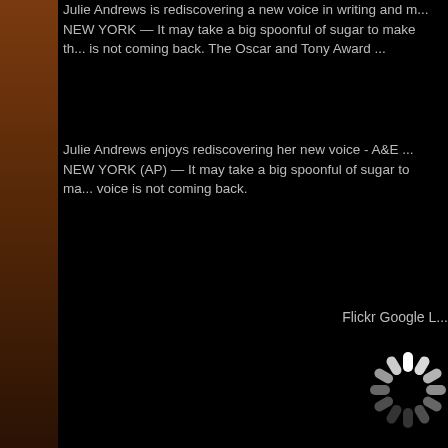Julie Andrews is rediscovering a new voice in writing and m... NEW YORK — It may take a big spoonful of sugar to make th... is not coming back. The Oscar and Tony Award ...
Julie Andrews enjoys rediscovering her new voice - A&E ... NEW YORK (AP) — It may take a big spoonful of sugar to ma... voice is not coming back.
Flickr Google L...
[Figure (other): Loading spinner icon (white dashes on black background) next to Flickr Google label]
Youtub...
[Figure (other): Loading spinner icon (white dashes on black background) next to Youtube label]